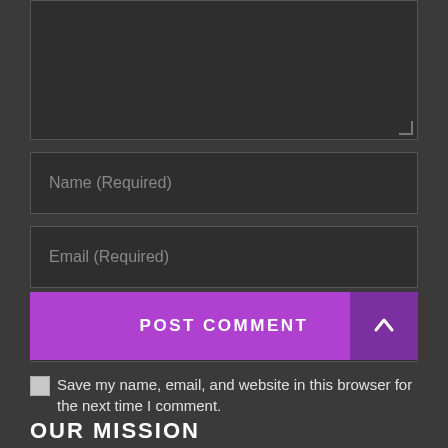[Figure (screenshot): Dark-themed comment form with textarea (partially visible at top), Name (Required) input, Email (Required) input, Website input, a checkbox labeled 'Save my name, email, and website in this browser for the next time I comment.', a purple POST COMMENT button, a back-to-top arrow button, and an OUR MISSION section header at the bottom.]
Name (Required)
Email (Required)
Website
Save my name, email, and website in this browser for the next time I comment.
POST COMMENT
OUR MISSION